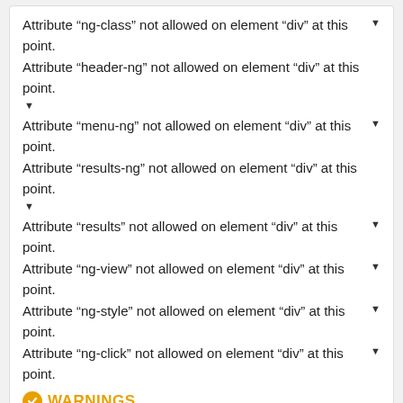Attribute “ng-class” not allowed on element “div” at this point. ▾
Attribute “header-ng” not allowed on element “div” at this point. ▾
Attribute “menu-ng” not allowed on element “div” at this point. ▾
Attribute “results-ng” not allowed on element “div” at this point. ▾
Attribute “results” not allowed on element “div” at this point. ▾
Attribute “ng-view” not allowed on element “div” at this point. ▾
Attribute “ng-style” not allowed on element “div” at this point. ▾
Attribute “ng-click” not allowed on element “div” at this point. ▾
WARNINGS
Consider avoiding viewport values that prevent users from resizing documents.
Walmart.com.mx Desktop Insights